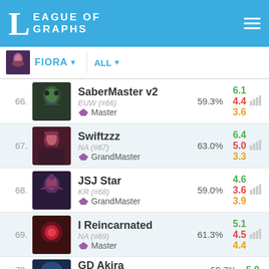League of Graphs
FIORA | ALL
66. SaberMaster v2 | EUW (#66) | Master | 59.3% | 6.1 / 4.4 / 3.6
67. Swiftzzz | NA (#67) | GrandMaster | 63.0% | 6.4 / 5.0 / 3.3
68. JSJ Star | KR (#68) | GrandMaster | 59.0% | 4.6 / 3.6 / 3.9
69. I Reincarnated | NA (#69) | Master | 61.3% | 5.1 / 4.5 / 4.4
70. GD Akira | EUW (#70) | 59.7% | 5.0 / ...